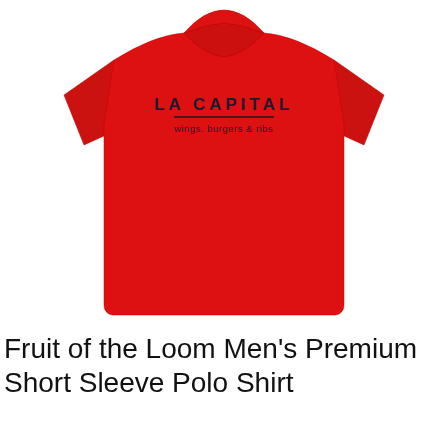[Figure (photo): A red short-sleeve t-shirt with 'LA CAPITAL wings, burgers & ribs' logo printed on the chest, displayed flat against a white background.]
Fruit of the Loom Men's Premium Short Sleeve Polo Shirt